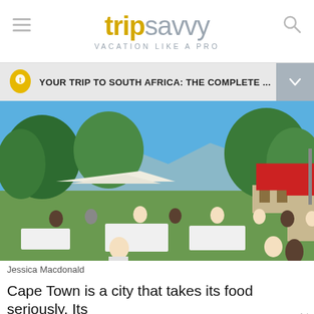tripsavvy VACATION LIKE A PRO
YOUR TRIP TO SOUTH AFRICA: THE COMPLETE ...
[Figure (photo): Outdoor food market scene with people seated at tables under trees and a large red umbrella/gazebo, mountains visible in the background, sunny day]
Jessica Macdonald
Cape Town is a city that takes its food seriously. Its